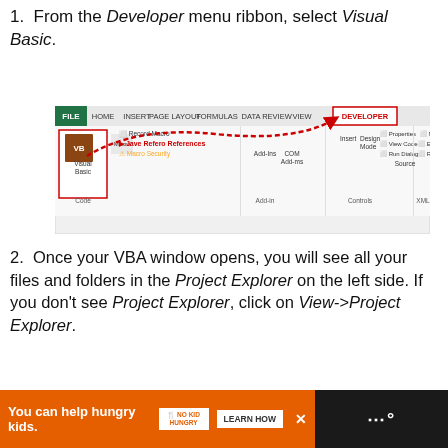1. From the Developer menu ribbon, select Visual Basic.
[Figure (screenshot): Excel ribbon screenshot showing the Developer tab highlighted in red, with an arrow pointing from the Visual Basic button to the DEVELOPER tab]
2. Once your VBA window opens, you will see all your files and folders in the Project Explorer on the left side. If you don't see Project Explorer, click on View->Project Explorer.
[Figure (screenshot): VBA Project Explorer window showing VBAProject (FUNCRES.XLAM) with Microsoft Excel Objects, Sheet1 (RES), ThisWorkbook, Modules, and RibbonX_Code]
You can help hungry kids. NO KID HUNGRY LEARN HOW